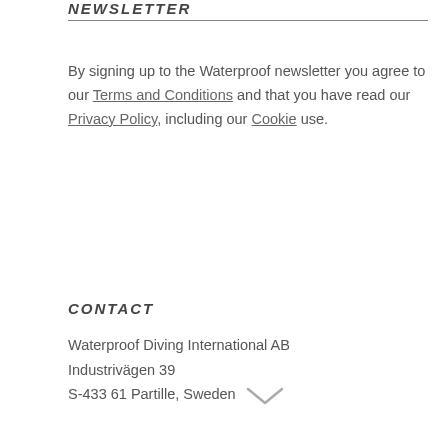NEWSLETTER
By signing up to the Waterproof newsletter you agree to our Terms and Conditions and that you have read our Privacy Policy, including our Cookie use.
CONTACT
Waterproof Diving International AB
Industrivägen 39
S-433 61 Partille, Sweden